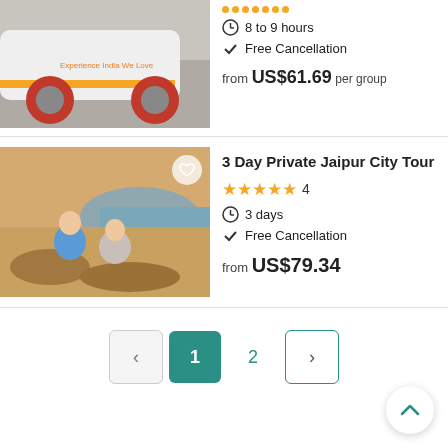[Figure (photo): Partial view of a white car with orange stripe and pink wheel]
8 to 9 hours
Free Cancellation
from US$61.69 per group
3 Day Private Jaipur City Tour
[Figure (photo): Two young tourists, a man in blue shirt and a woman, sitting on rocks with landscape view in background]
4 stars rating, 4 reviews
3 days
Free Cancellation
from US$79.34
Pagination: Previous, 1 (active), 2, Next